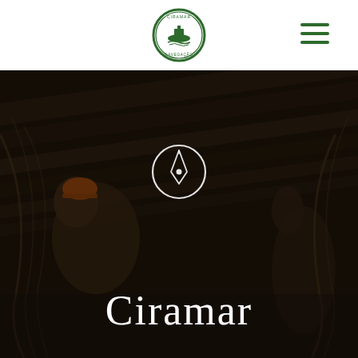[Figure (logo): Circular green and white logo with a ship/boat emblem and text around the border — Ciramar company logo]
[Figure (illustration): Navigation hamburger menu icon made of three green horizontal lines, positioned top-right of the header]
[Figure (photo): Dark industrial/maritime background photo showing a worker in an orange hard hat underneath heavy structural beams or ship hull, with dramatic low lighting. A white compass/navigation icon is overlaid in the center. The text 'Ciramar' is displayed in large white serif font below the icon.]
Ciramar